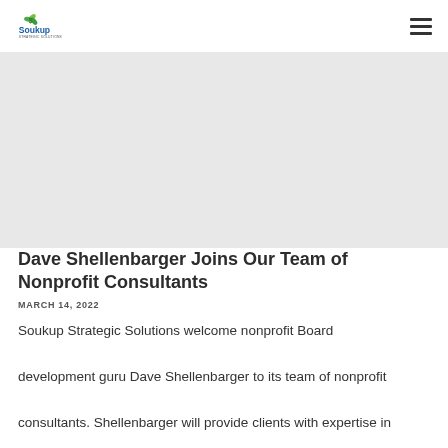Soukup Strategic Solutions
[Figure (photo): Header image area for blog post about Dave Shellenbarger joining the nonprofit consulting team]
Dave Shellenbarger Joins Our Team of Nonprofit Consultants
MARCH 14, 2022
Soukup Strategic Solutions welcome nonprofit Board development guru Dave Shellenbarger to its team of nonprofit consultants. Shellenbarger will provide clients with expertise in